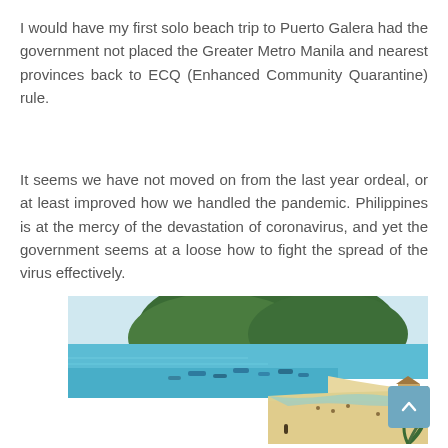I would have my first solo beach trip to Puerto Galera had the government not placed the Greater Metro Manila and nearest provinces back to ECQ (Enhanced Community Quarantine) rule.
It seems we have not moved on from the last year ordeal, or at least improved how we handled the pandemic. Philippines is at the mercy of the devastation of coronavirus, and yet the government seems at a loose how to fight the spread of the virus effectively.
[Figure (photo): Aerial view of Puerto Galera beach with turquoise water, fishing boats, sandy shoreline, and a forested hillside peninsula in the background.]